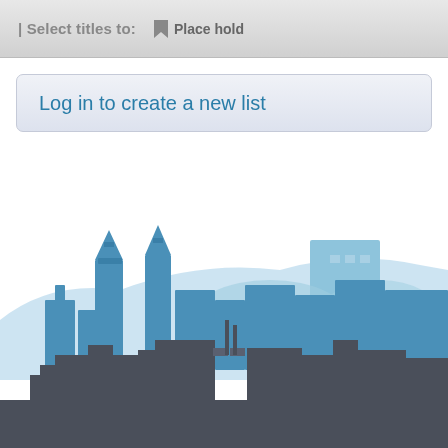| Select titles to:  Place hold
Log in to create a new list
[Figure (illustration): A stylized city skyline illustration with multiple layers: light blue distant buildings and hills in the background, medium blue mid-ground buildings with two prominent church/tower spires on the left, and dark gray foreground buildings across the bottom.]